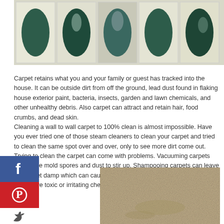[Figure (photo): Decorative wall art panels with dark leaf/petal patterns on light background, arranged in a row on a tiled surface]
Carpet retains what you and your family or guest has tracked into the house. It can be outside dirt from off the ground, lead dust found in flaking house exterior paint, bacteria, insects, garden and lawn chemicals, and other unhealthy debris. Also carpet can attract and retain hair, food crumbs, and dead skin.
Cleaning a wall to wall carpet to 100% clean is almost impossible. Have you ever tried one of those steam cleaners to clean your carpet and tried to clean the same spot over and over, only to see more dirt come out. Trying to clean the carpet can come with problems. Vacuuming carpets can cause mold spores and dust to stir up. Shampooing carpets can leave the carpet damp which can cause more mold growth. The shampoo may even have toxic or irritating chemicals added.
[Figure (photo): Close-up photo of a beige/tan carpet with visible texture and slight staining or discoloration]